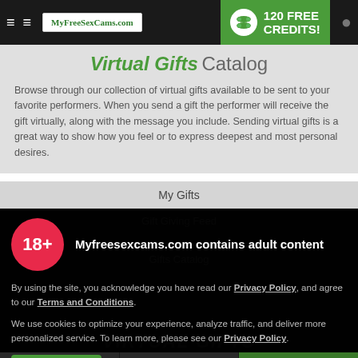MyFreeSexCams.com | 120 FREE CREDITS!
Virtual Gifts Catalog
Browse through our collection of virtual gifts available to be sent to your favorite performers. When you send a gift the performer will receive the gift virtually, along with the message you include. Sending virtual gifts is a great way to show how you feel or to express deepest and most personal desires.
My Gifts
Gift Giving Feed
Gifts Catalog
18+ Myfreesexcams.com contains adult content
By using the site, you acknowledge you have read our Privacy Policy, and agree to our Terms and Conditions.
We use cookies to optimize your experience, analyze traffic, and deliver more personalized service. To learn more, please see our Privacy Policy.
I AGREE